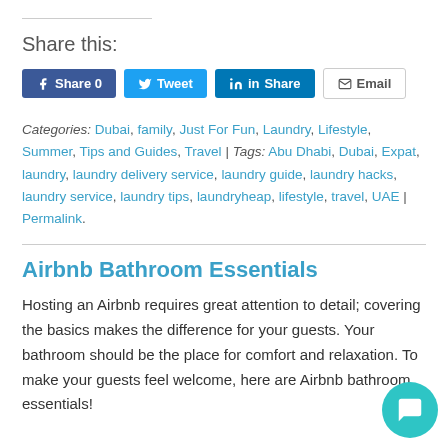Share this:
[Figure (infographic): Social share buttons: Facebook Share 0, Tweet, LinkedIn Share, Email]
Categories: Dubai, family, Just For Fun, Laundry, Lifestyle, Summer, Tips and Guides, Travel | Tags: Abu Dhabi, Dubai, Expat, laundry, laundry delivery service, laundry guide, laundry hacks, laundry service, laundry tips, laundryheap, lifestyle, travel, UAE | Permalink.
Airbnb Bathroom Essentials
Hosting an Airbnb requires great attention to detail; covering the basics makes the difference for your guests. Your bathroom should be the place for comfort and relaxation. To make your guests feel welcome, here are Airbnb bathroom essentials!